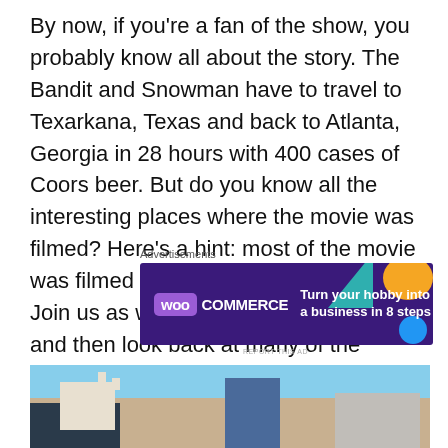By now, if you're a fan of the show, you probably know all about the story. The Bandit and Snowman have to travel to Texarkana, Texas and back to Atlanta, Georgia in 28 hours with 400 cases of Coors beer. But do you know all the interesting places where the movie was filmed? Here's a hint: most of the movie was filmed in the metro Atlanta area. Join us as we take you on a 40-year now and then look back at many of the Smokey and the Bandit filming locations.
[Figure (other): WooCommerce advertisement banner: purple background with teal and orange decorative shapes, WooCommerce logo on left, text 'Turn your hobby into a business in 8 steps' on right]
[Figure (photo): Outdoor scene showing a building with towers on the left, a man in a cowboy hat in the center, trucks and a trailer visible, blue sky background]